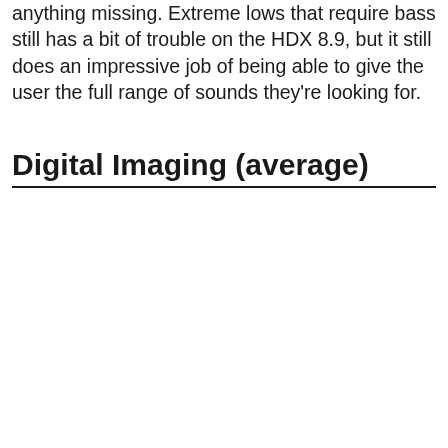anything missing. Extreme lows that require bass still has a bit of trouble on the HDX 8.9, but it still does an impressive job of being able to give the user the full range of sounds they're looking for.
Digital Imaging (average)